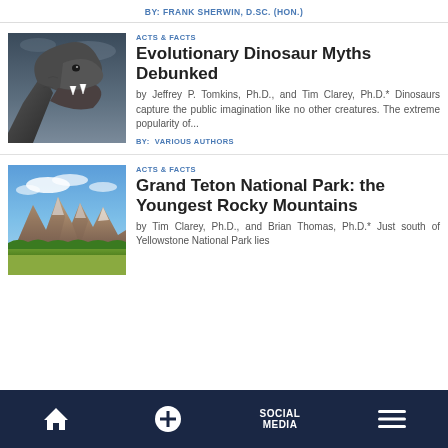BY: FRANK SHERWIN, D.SC. (HON.)
ACTS & FACTS
Evolutionary Dinosaur Myths Debunked
by Jeffrey P. Tomkins, Ph.D., and Tim Clarey, Ph.D.* Dinosaurs capture the public imagination like no other creatures. The extreme popularity of...
BY:  VARIOUS AUTHORS
[Figure (photo): T-Rex dinosaur head with open mouth against dark stormy sky background]
ACTS & FACTS
Grand Teton National Park: the Youngest Rocky Mountains
by Tim Clarey, Ph.D., and Brian Thomas, Ph.D.* Just south of Yellowstone National Park lies
[Figure (photo): Grand Teton mountain range with blue sky and clouds, green meadow in foreground]
Home  +  SOCIAL MEDIA  Menu